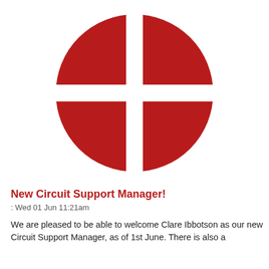[Figure (logo): Red circular logo divided into four quadrants by a white cross, resembling a Methodist or Christian cross within a circle. The four red segments form a circle with a white plus/cross shape in the center and white gaps between the segments.]
New Circuit Support Manager!
: Wed 01 Jun 11:21am
We are pleased to be able to welcome Clare Ibbotson as our new Circuit Support Manager, as of 1st June. There is also a